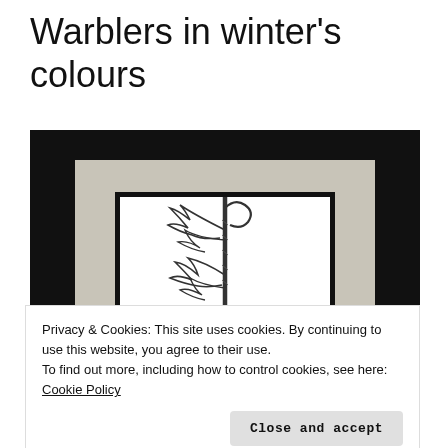Warblers in winter's colours
[Figure (photo): A framed botanical/wildlife illustration showing a warbler bird among tropical foliage with palm-like leaves and a curling vine, rendered in black and white pen-and-ink style. The artwork is triple-matted: outer black frame, then a wide grey/beige mat, then a narrow black inner mat, with the white illustration surface inside.]
Privacy & Cookies: This site uses cookies. By continuing to use this website, you agree to their use.
To find out more, including how to control cookies, see here: Cookie Policy
Close and accept